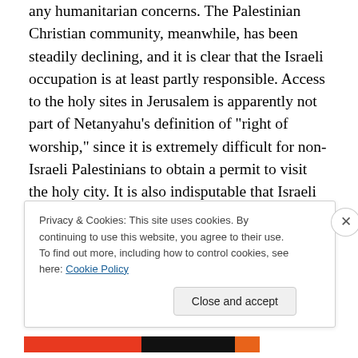any humanitarian concerns. The Palestinian Christian community, meanwhile, has been steadily declining, and it is clear that the Israeli occupation is at least partly responsible. Access to the holy sites in Jerusalem is apparently not part of Netanyahu's definition of "right of worship," since it is extremely difficult for non-Israeli Palestinians to obtain a permit to visit the holy city. It is also indisputable that Israeli Jews are steadily taking over the Arab neighborhoods of east Jerusalem, and there seems little concern for the religious concerns of non-Jews. The Ministry of Religious Affairs, in pursuance of
Privacy & Cookies: This site uses cookies. By continuing to use this website, you agree to their use.
To find out more, including how to control cookies, see here: Cookie Policy